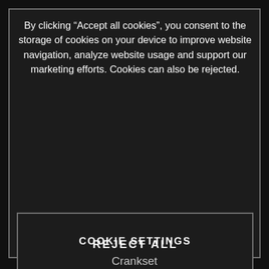[Figure (screenshot): Cookie consent modal dialog overlaid on a dark-themed bicycle product page. The modal contains: cookie consent text, a 'REJECT ALL' button with dark background and grey border, an 'ACCEPT ALL COOKIES' button in red/crimson, and a 'COOKIE SETTINGS' text link. Behind the modal, partially visible are bicycle component labels including 'Frame', '29", Alloy 6061', 'brake', 'BR-MT200, 2-piston,', 'lic disc brake', and 'Crankset', along with a geometric bicycle frame icon in dark red.]